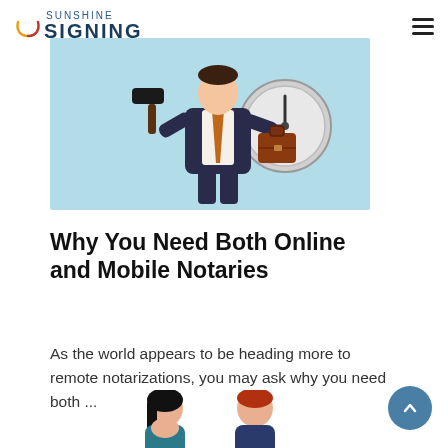Sunshine Signing
[Figure (illustration): Cartoon illustration of a business person in a suit holding a gavel in one hand and a briefcase in the other, with a large clock in the background, on a light teal background. The figure appears to be a notary or legal professional.]
Why You Need Both Online and Mobile Notaries
As the world appears to be heading more to remote notarizations, you may ask why you need both ...
[Figure (illustration): Cartoon illustration of two people facing each other — a woman with long dark hair on the left and a man with reddish hair on the right, appearing to be in a consultation or discussion.]